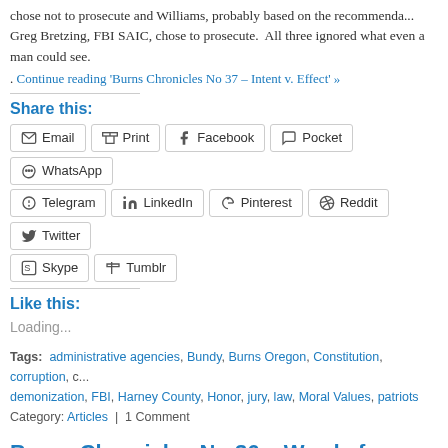chose not to prosecute and Williams, probably based on the recommendation of Greg Bretzing, FBI SAIC, chose to prosecute.  All three ignored what even a man could see.
. Continue reading 'Burns Chronicles No 37 – Intent v. Effect' »
Share this:
Email | Print | Facebook | Pocket | WhatsApp | Telegram | LinkedIn | Pinterest | Reddit | Twitter | Skype | Tumblr
Like this:
Loading...
Tags: administrative agencies, Bundy, Burns Oregon, Constitution, corruption, c… demonization, FBI, Harney County, Honor, jury, law, Moral Values, patriots
Category: Articles | 1 Comment
Burns Chronicles No 36 – Words from the Poor Losers